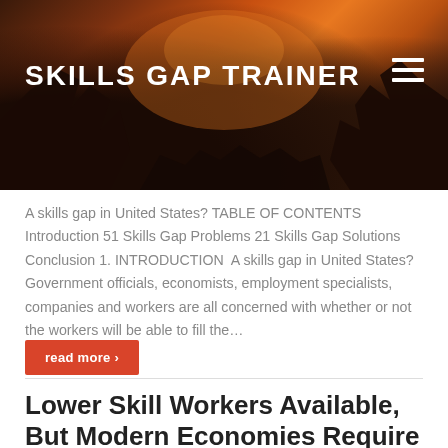[Figure (photo): Header banner with rocky landscape silhouettes against an orange/red dramatic sky, with the Skills Gap Trainer website logo and hamburger menu]
SKILLS GAP TRAINER
A skills gap in United States? TABLE OF CONTENTS Introduction 51 Skills Gap Problems 21 Skills Gap Solutions Conclusion 1. INTRODUCTION  A skills gap in United States? Government officials, economists, employment specialists, companies and workers are all concerned with whether or not the workers will be able to fill the…
read more ›
Lower Skill Workers Available, But Modern Economies Require High Skill